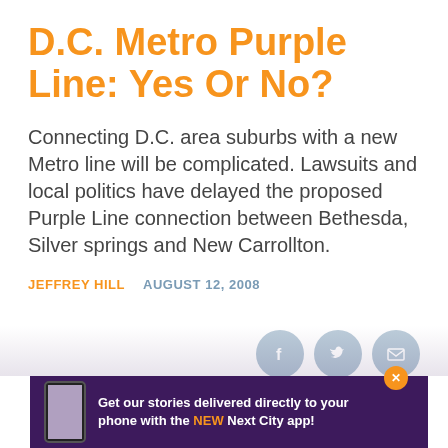D.C. Metro Purple Line: Yes Or No?
Connecting D.C. area suburbs with a new Metro line will be complicated. Lawsuits and local politics have delayed the proposed Purple Line connection between Bethesda, Silver springs and New Carrollton.
JEFFREY HILL   AUGUST 12, 2008
[Figure (infographic): Three circular social media share icons (Facebook, Twitter, Email) in grey/blue color]
[Figure (infographic): Dark purple banner ad: Get our stories delivered directly to your phone with the NEW Next City app! with phone graphic and orange close button]